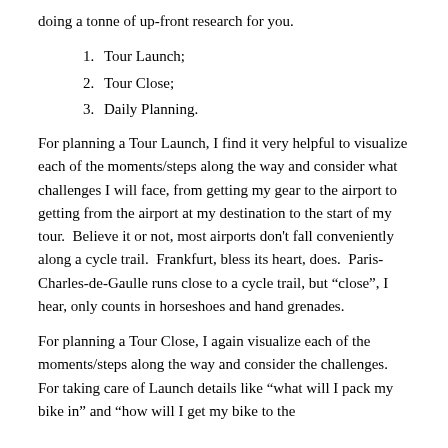doing a tonne of up-front research for you.
1.  Tour Launch;
2.  Tour Close;
3.  Daily Planning.
For planning a Tour Launch, I find it very helpful to visualize each of the moments/steps along the way and consider what challenges I will face, from getting my gear to the airport to getting from the airport at my destination to the start of my tour.  Believe it or not, most airports don't fall conveniently along a cycle trail.  Frankfurt, bless its heart, does.  Paris-Charles-de-Gaulle runs close to a cycle trail, but “close”, I hear, only counts in horseshoes and hand grenades.
For planning a Tour Close, I again visualize each of the moments/steps along the way and consider the challenges.  For taking care of Launch details like “what will I pack my bike in” and “how will I get my bike to the